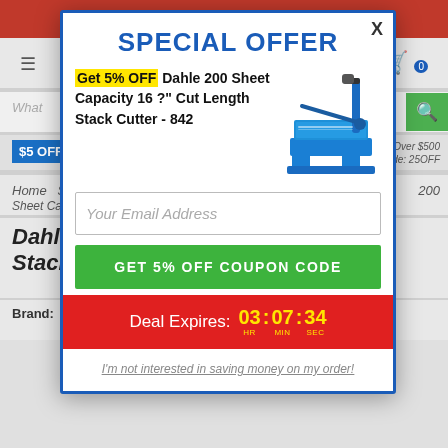[Figure (screenshot): Background of a retail e-commerce website selling office/paper cutting equipment, partially obscured by a modal popup]
SPECIAL OFFER
Get 5% OFF Dahle 200 Sheet Capacity 16 ?" Cut Length Stack Cutter - 842
[Figure (photo): Blue Dahle 200 Sheet Capacity Stack Cutter 842 product image]
Your Email Address
GET 5% OFF COUPON CODE
Deal Expires: 03 : 07 : 34 HR MIN SEC
I'm not interested in saving money on my order!